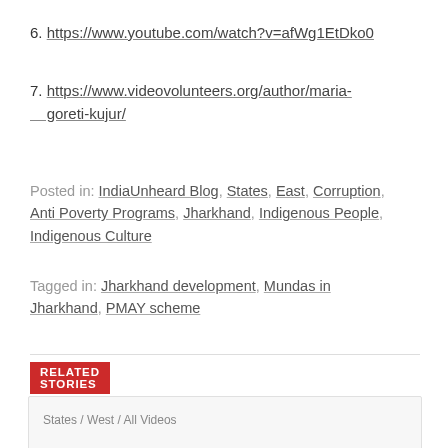6. https://www.youtube.com/watch?v=afWg1EtDko0
7. https://www.videovolunteers.org/author/maria-goreti-kujur/
Posted in: IndiaUnheard Blog, States, East, Corruption, Anti Poverty Programs, Jharkhand, Indigenous People, Indigenous Culture
Tagged in: Jharkhand development, Mundas in Jharkhand, PMAY scheme
RELATED STORIES
States / West / All Videos